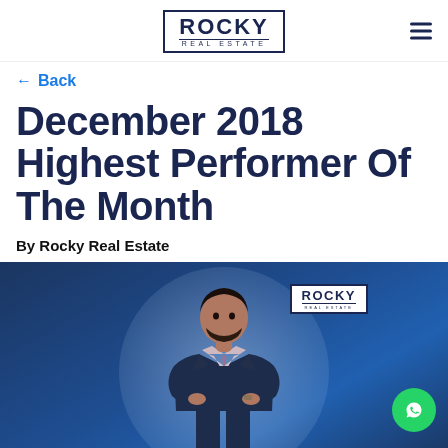ROCKY REAL ESTATE
← Back
December 2018 Highest Performer Of The Month
By Rocky Real Estate
[Figure (photo): Promotional banner photo of a man in a dark suit with arms crossed, standing in front of a blue background with a light circular glow. Rocky Real Estate logo visible in top right of banner. WhatsApp icon button in bottom right corner.]